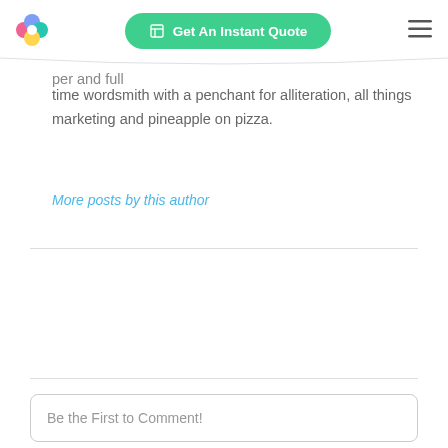[Figure (logo): Colorful flower-like logo with pink, blue/teal, and yellow circles]
[Figure (screenshot): Green rounded button with calculator icon and text 'Get An Instant Quote']
[Figure (other): Hamburger menu icon (three horizontal lines)]
per and full time wordsmith with a penchant for alliteration, all things marketing and pineapple on pizza.
More posts by this author
Be the First to Comment!